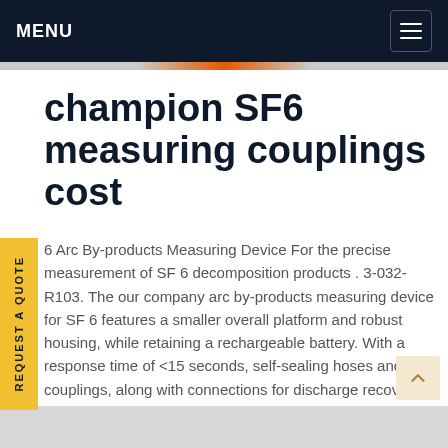MENU
champion SF6 measuring couplings cost
6 Arc By-products Measuring Device For the precise measurement of SF 6 decomposition products . 3-032-R103. The our company arc by-products measuring device for SF 6 features a smaller overall platform and robust housing, while retaining a rechargeable battery. With a response time of <15 seconds, self-sealing hoses and couplings, along with connections for discharge recovery systems, the SF 6 arcGet price